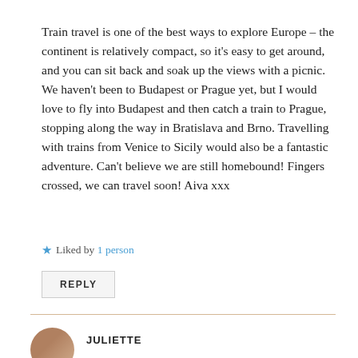Train travel is one of the best ways to explore Europe – the continent is relatively compact, so it's easy to get around, and you can sit back and soak up the views with a picnic. We haven't been to Budapest or Prague yet, but I would love to fly into Budapest and then catch a train to Prague, stopping along the way in Bratislava and Brno. Travelling with trains from Venice to Sicily would also be a fantastic adventure. Can't believe we are still homebound! Fingers crossed, we can travel soon! Aiva xxx
★ Liked by 1 person
REPLY
JULIETTE